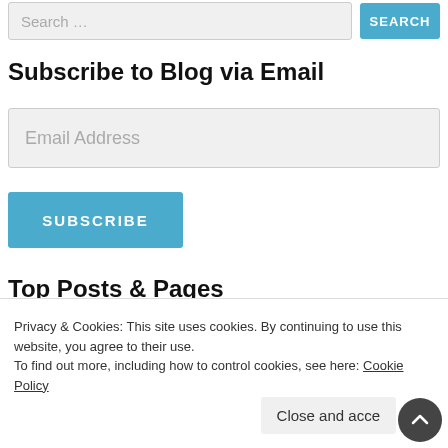[Figure (screenshot): Search input field with placeholder text 'Search ...' and a blue SEARCH button]
Subscribe to Blog via Email
[Figure (screenshot): Email Address input field with placeholder text]
[Figure (screenshot): Blue SUBSCRIBE button]
Top Posts & Pages
Privacy & Cookies: This site uses cookies. By continuing to use this website, you agree to their use.
To find out more, including how to control cookies, see here: Cookie Policy
Close and acce